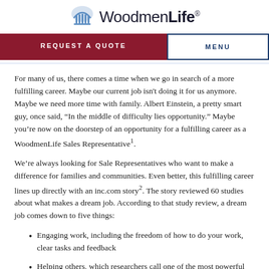WoodmenLife
REQUEST A QUOTE
MENU
For many of us, there comes a time when we go in search of a more fulfilling career. Maybe our current job isn't doing it for us anymore. Maybe we need more time with family. Albert Einstein, a pretty smart guy, once said, “In the middle of difficulty lies opportunity.” Maybe you’re now on the doorstep of an opportunity for a fulfilling career as a WoodmenLife Sales Representative¹.
We’re always looking for Sale Representatives who want to make a difference for families and communities. Even better, this fulfilling career lines up directly with an inc.com story². The story reviewed 60 studies about what makes a dream job. According to that study review, a dream job comes down to five things:
Engaging work, including the freedom of how to do your work, clear tasks and feedback
Helping others, which researchers call one of the most powerful factors in having a fulfilling career